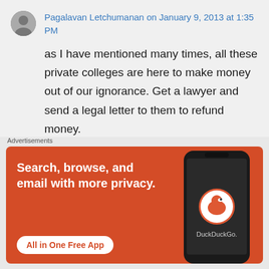Pagalavan Letchumanan on January 9, 2013 at 1:35 PM
as I have mentioned many times, all these private colleges are here to make money out of our ignorance. Get a lawyer and send a legal letter to them to refund money.
👍 1 👎 2 ℹ Rate This
Advertisements
[Figure (screenshot): DuckDuckGo advertisement banner showing 'Search, browse, and email with more privacy. All in One Free App' with a smartphone image and DuckDuckGo logo on orange/red background]